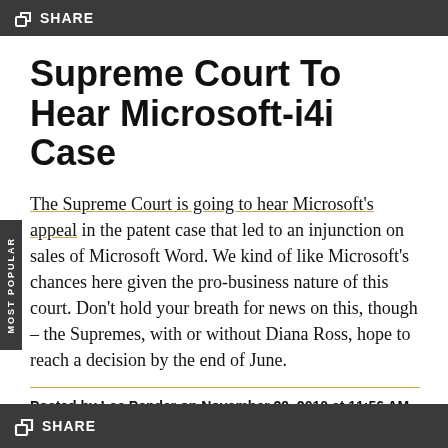SHARE
Supreme Court To Hear Microsoft-i4i Case
The Supreme Court is going to hear Microsoft's appeal in the patent case that led to an injunction on sales of Microsoft Word. We kind of like Microsoft's chances here given the pro-business nature of this court. Don't hold your breath for news on this, though – the Supremes, with or without Diana Ross, hope to reach a decision by the end of June.
Posted by Lee Pender on November 29, 2010 at 11:56 AM
SHARE